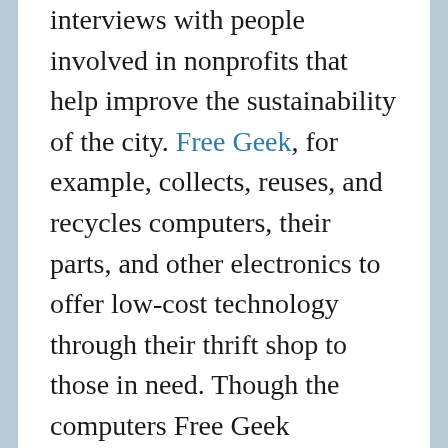interviews with people involved in nonprofits that help improve the sustainability of the city. Free Geek, for example, collects, reuses, and recycles computers, their parts, and other electronics to offer low-cost technology through their thrift shop to those in need. Though the computers Free Geek refurbishes may be outdated, all are equipped to check and send email, as well as to write resumes.
Heying is the associate professor of the Urban Studies Program at Portland State, and he says in his introduction that the book originally began as an investigation of the independent fashion industry. As he delved deeper into Portland's artisan economy, though, he saw his